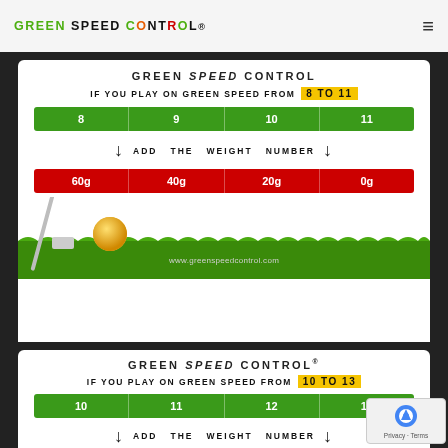[Figure (screenshot): Navigation bar with GREEN SPEED CONTROL logo and hamburger menu]
[Figure (infographic): Green Speed Control infographic showing: IF YOU PLAY ON GREEN SPEED FROM 8 TO 11, green bar with values 8, 9, 10, 11, ADD THE WEIGHT NUMBER arrows, red bar with 60g, 40g, 20g, 0g, golf scene with ball and club, www.greenspeedcontrol.com]
[Figure (infographic): Second Green Speed Control infographic: IF YOU PLAY ON GREEN SPEED FROM 10 TO 13, green bar with 10, 11, 12, 13, ADD THE WEIGHT NUMBER arrow row (partial), with reCAPTCHA badge]